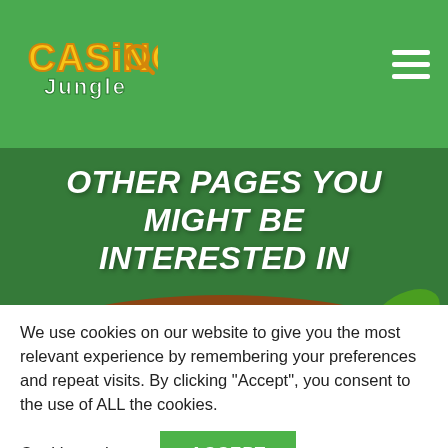Casinos Jungle logo and navigation
OTHER PAGES YOU MIGHT BE INTERESTED IN
[Figure (illustration): Best Blackjack Casinos banner with playing cards, brown wooden sign, and tropical leaves/coconut decoration on green background]
We use cookies on our website to give you the most relevant experience by remembering your preferences and repeat visits. By clicking “Accept”, you consent to the use of ALL the cookies.
Cookie settings   ACCEPT